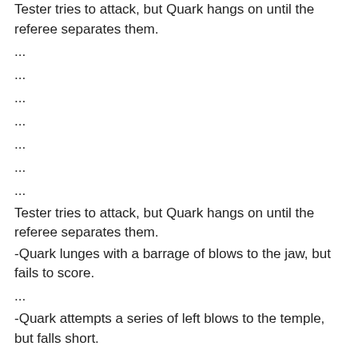Tester tries to attack, but Quark hangs on until the referee separates them.
...
...
...
...
...
...
...
Tester tries to attack, but Quark hangs on until the referee separates them.
-Quark lunges with a barrage of blows to the jaw, but fails to score.
...
-Quark attempts a series of left blows to the temple, but falls short.
...
...
...